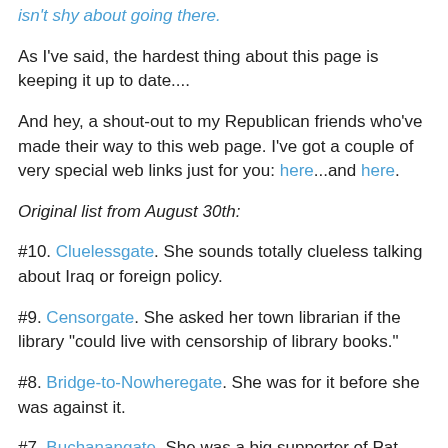isn't shy about going there.
As I've said, the hardest thing about this page is keeping it up to date....
And hey, a shout-out to my Republican friends who've made their way to this web page. I've got a couple of very special web links just for you: here...and here.
Original list from August 30th:
#10. Cluelessgate. She sounds totally clueless talking about Iraq or foreign policy.
#9. Censorgate. She asked her town librarian if the library "could live with censorship of library books."
#8. Bridge-to-Nowheregate. She was for it before she was against it.
#7. Buchanangate. She was a big supporter of Pat Buchanan's 1996 rather hard-right, somewhat anti-semitic run for office. That ought to win every voter in Florida...